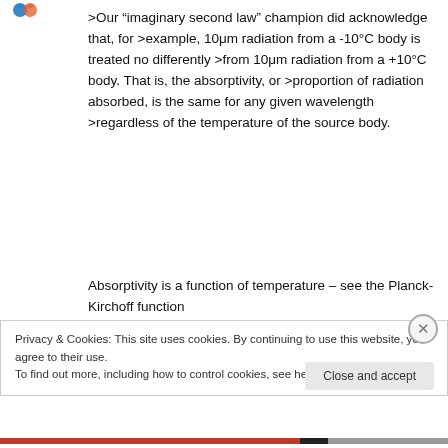[Figure (logo): Blue and orange logo mark in top left corner]
>Our “imaginary second law” champion did acknowledge that, for >example, 10μm radiation from a -10°C body is treated no differently >from 10μm radiation from a +10°C body. That is, the absorptivity, or >proportion of radiation absorbed, is the same for any given wavelength >regardless of the temperature of the source body.
Absorptivity is a function of temperature – see the Planck-Kirchoff function
Privacy & Cookies: This site uses cookies. By continuing to use this website, you agree to their use.
To find out more, including how to control cookies, see here: Cookie Policy